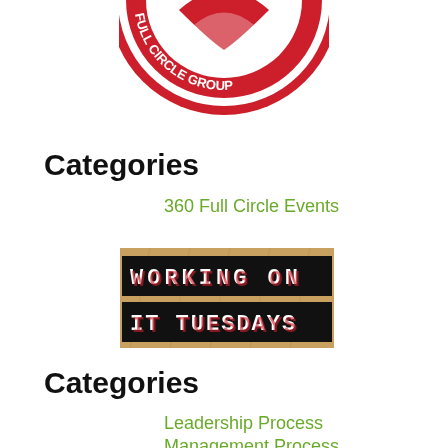[Figure (logo): Full Circle Group circular logo in red and white, shown partially at top]
Categories
360 Full Circle Events
[Figure (photo): Image of a corkboard with black letter tiles spelling WORKING ON IT TUESDAYS in white and red text]
Categories
Leadership Process
Management Process